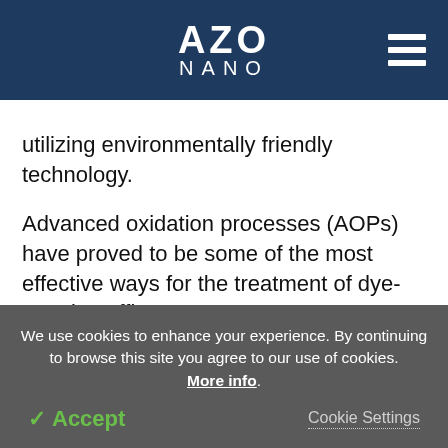AZO NANO
utilizing environmentally friendly technology.
Advanced oxidation processes (AOPs) have proved to be some of the most effective ways for the treatment of dye-carrying effluents.
Heterogenized photocatalysis is a highly interesting AOPs for the treatment of dyes as well as other organic substances due to its environmentally
We use cookies to enhance your experience. By continuing to browse this site you agree to our use of cookies. More info.
✓ Accept
Cookie Settings